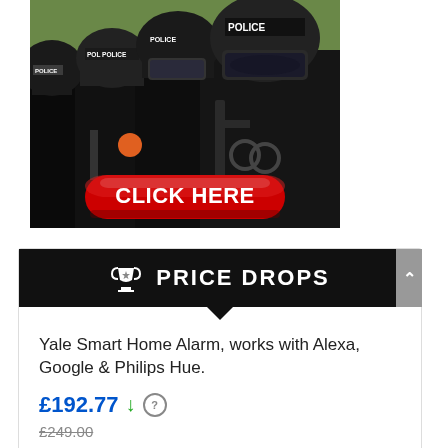[Figure (photo): Photo of police officers in riot gear/helmets with 'POLICE' labels, with a red 'CLICK HERE' button overlaid at the bottom]
PRICE DROPS
Yale Smart Home Alarm, works with Alexa, Google & Philips Hue.
£192.77 ↓ ⓘ
£249.00